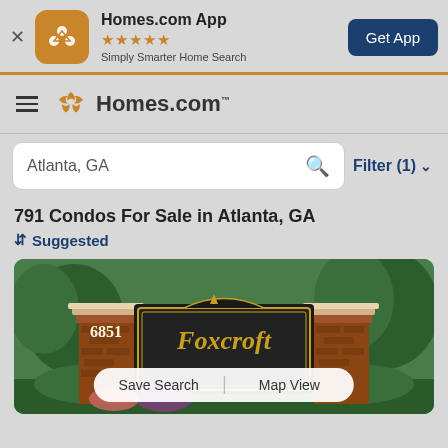[Figure (screenshot): Homes.com app banner with orange icon, 4.5 star rating, 'Simply Smarter Home Search' subtitle, and 'Get App' dark blue button]
[Figure (logo): Homes.com navigation bar with hamburger menu, orange pinwheel logo, and 'Homes.com' text]
Atlanta, GA
Filter (1)
791 Condos For Sale in Atlanta, GA
Suggested
[Figure (photo): Foxcroft community entrance sign at 6851 with brick pillars and lush green trees, with Save Search and Map View buttons at bottom]